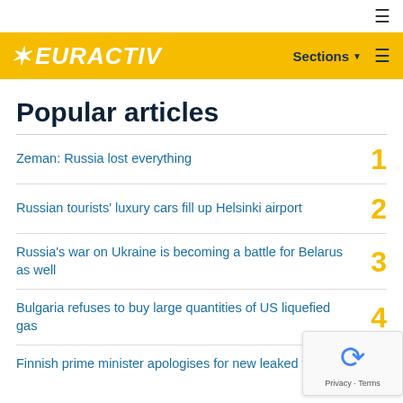EURACTIV — Sections
Popular articles
Zeman: Russia lost everything — 1
Russian tourists' luxury cars fill up Helsinki airport — 2
Russia's war on Ukraine is becoming a battle for Belarus as well — 3
Bulgaria refuses to buy large quantities of US liquefied gas — 4
Finnish prime minister apologises for new leaked video